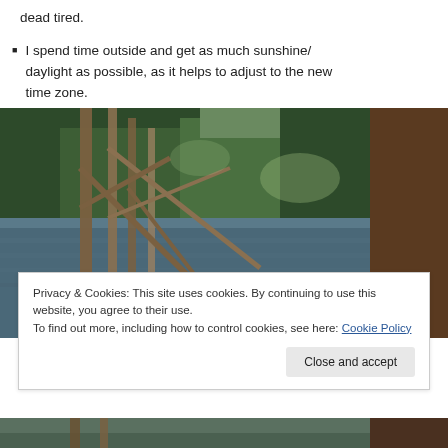dead tired.
I spend time outside and get as much sunshine/daylight as possible, as it helps to adjust to the new time zone.
[Figure (photo): Outdoor nature scene with bare tree trunks and branches in the foreground, a calm lake or river in the middle ground, and dense green forest in the background under bright daylight.]
Privacy & Cookies: This site uses cookies. By continuing to use this website, you agree to their use.
To find out more, including how to control cookies, see here: Cookie Policy
Close and accept